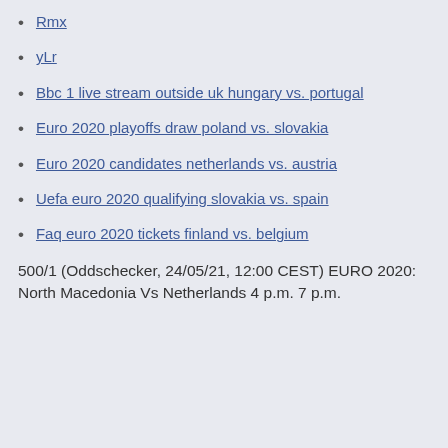Rmx
yLr
Bbc 1 live stream outside uk hungary vs. portugal
Euro 2020 playoffs draw poland vs. slovakia
Euro 2020 candidates netherlands vs. austria
Uefa euro 2020 qualifying slovakia vs. spain
Faq euro 2020 tickets finland vs. belgium
500/1 (Oddschecker, 24/05/21, 12:00 CEST) EURO 2020: North Macedonia Vs Netherlands 4 p.m. 7 p.m.